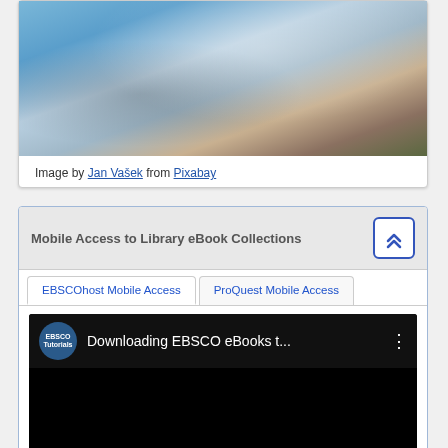[Figure (photo): Photo of person in blue jacket and jeans holding a smartphone, cropped to show hands and torso]
Image by Jan Vašek from Pixabay
Mobile Access to Library eBook Collections
EBSCOhost Mobile Access (tab, inactive) | ProQuest Mobile Access (tab, active)
[Figure (screenshot): YouTube video thumbnail showing EBSCO Tutorials logo and title 'Downloading EBSCO eBooks t...' on black background]